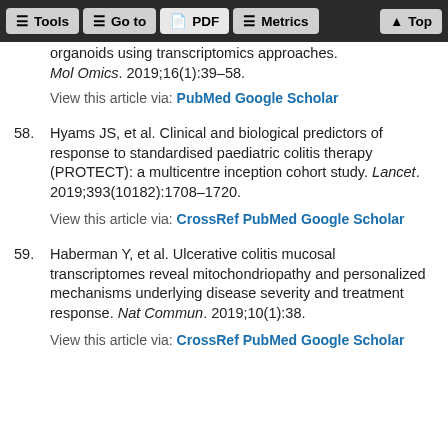Tools | Go to | PDF | Metrics | Top
organoids using transcriptomics approaches. Mol Omics. 2019;16(1):39–58.
View this article via: PubMed Google Scholar
58. Hyams JS, et al. Clinical and biological predictors of response to standardised paediatric colitis therapy (PROTECT): a multicentre inception cohort study. Lancet. 2019;393(10182):1708–1720.
View this article via: CrossRef PubMed Google Scholar
59. Haberman Y, et al. Ulcerative colitis mucosal transcriptomes reveal mitochondriopathy and personalized mechanisms underlying disease severity and treatment response. Nat Commun. 2019;10(1):38.
View this article via: CrossRef PubMed Google Scholar